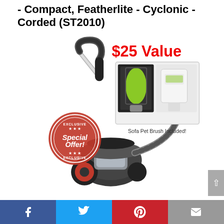- Compact, Featherlite - Cyclonic - Corded (ST2010)
[Figure (photo): Product photo of a compact cyclonic corded canister vacuum cleaner (ST2010) with a flexible hose and wand. Inset shows a '$25 Value' red text label above an image of a Sofa Pet Brush Included accessory. A circular red stamp reads 'Exclusive Special Offer! Exclusive'.]
Facebook | Twitter | Pinterest | Email (social share bar)